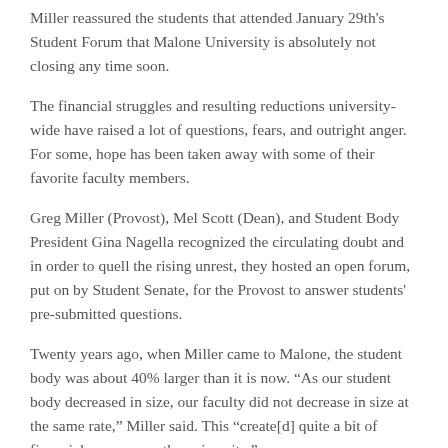Miller reassured the students that attended January 29th's Student Forum that Malone University is absolutely not closing any time soon.
The financial struggles and resulting reductions university-wide have raised a lot of questions, fears, and outright anger. For some, hope has been taken away with some of their favorite faculty members.
Greg Miller (Provost), Mel Scott (Dean), and Student Body President Gina Nagella recognized the circulating doubt and in order to quell the rising unrest, they hosted an open forum, put on by Student Senate, for the Provost to answer students' pre-submitted questions.
Twenty years ago, when Miller came to Malone, the student body was about 40% larger than it is now. “As our student body decreased in size, our faculty did not decrease in size at the same rate,” Miller said. This “create[d] quite a bit of financial pressure on the university.”
The decision was made to not replace faculty members that